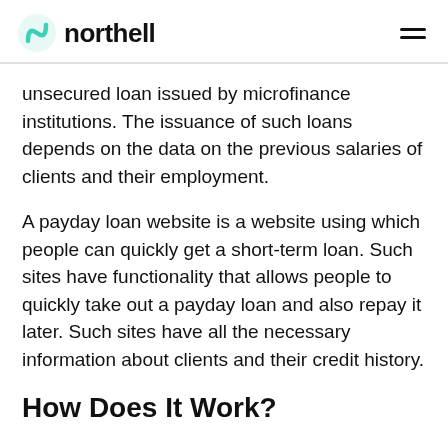northell
unsecured loan issued by microfinance institutions. The issuance of such loans depends on the data on the previous salaries of clients and their employment.
A payday loan website is a website using which people can quickly get a short-term loan. Such sites have functionality that allows people to quickly take out a payday loan and also repay it later. Such sites have all the necessary information about clients and their credit history.
How Does It Work?